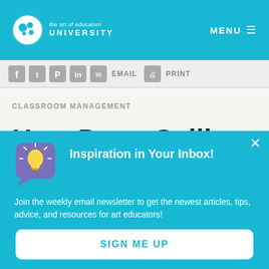the art of education UNIVERSITY | MENU
[Figure (screenshot): Social sharing icons: Facebook, Twitter, Pinterest, LinkedIn, Email, Print]
CLASSROOM MANAGEMENT
How Does Calling
[Figure (infographic): Newsletter popup modal with lightbulb icon on purple speech bubble background]
Inspiration in Your Inbox!
Join the weekly email newsletter to get the newest articles, tips, advice, and resources for art educators!
SIGN ME UP